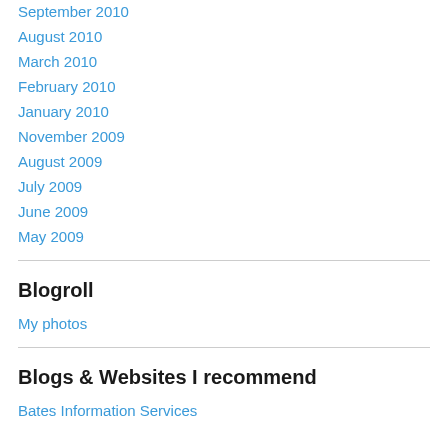September 2010
August 2010
March 2010
February 2010
January 2010
November 2009
August 2009
July 2009
June 2009
May 2009
Blogroll
My photos
Blogs & Websites I recommend
Bates Information Services